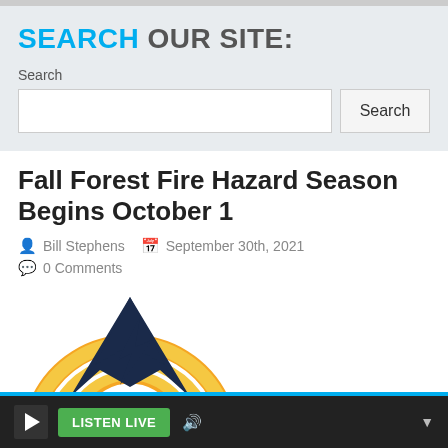SEARCH OUR SITE:
Search
Fall Forest Fire Hazard Season Begins October 1
Bill Stephens   September 30th, 2021   0 Comments
[Figure (logo): Circular radio station logo with yellow/gold arc rings and dark navy mountain peak silhouette in center]
LISTEN LIVE